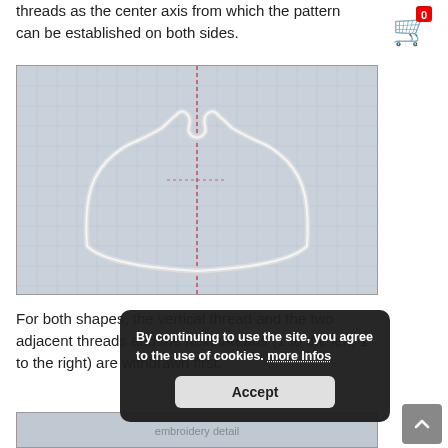threads as the center axis from which the pattern can be established on both sides.
[Figure (photo): Embroidered tulip/flower outline shape on linen fabric with a vertical thread marking the center axis]
For both shapes, the vertical thread and the two adjacent threads and the next threads (1 to the left, 1 to the right) are withdrawn first.
[Figure (screenshot): Cookie consent overlay popup with text: By continuing to use the site, you agree to the use of cookies. more Infos [Accept button]]
[Figure (photo): Partial view of another embroidery photo at the bottom of the page]